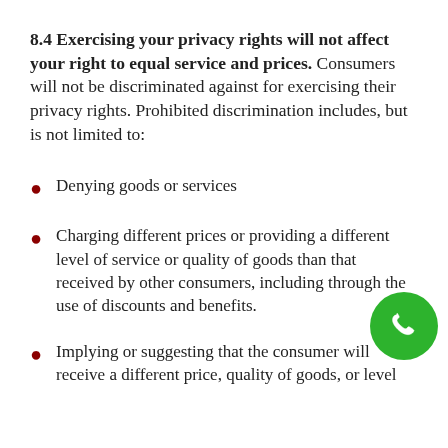8.4 Exercising your privacy rights will not affect your right to equal service and prices. Consumers will not be discriminated against for exercising their privacy rights. Prohibited discrimination includes, but is not limited to:
Denying goods or services
Charging different prices or providing a different level of service or quality of goods than that received by other consumers, including through the use of discounts and benefits.
Implying or suggesting that the consumer will receive a different price, quality of goods, or level